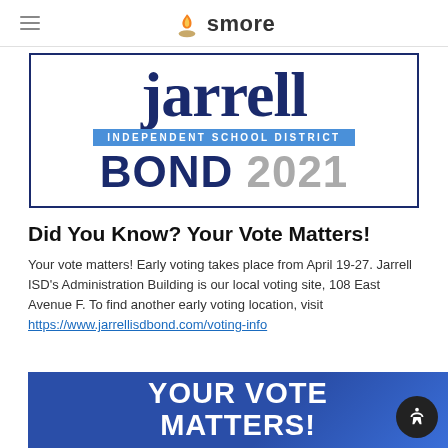smore
[Figure (logo): Jarrell Independent School District BOND 2021 logo with dark blue serif text and blue banner]
Did You Know? Your Vote Matters!
Your vote matters! Early voting takes place from April 19-27. Jarrell ISD's Administration Building is our local voting site, 108 East Avenue F. To find another early voting location, visit https://www.jarrellisdbond.com/voting-info
[Figure (photo): Blue banner image with white bold text reading YOUR VOTE MATTERS!]